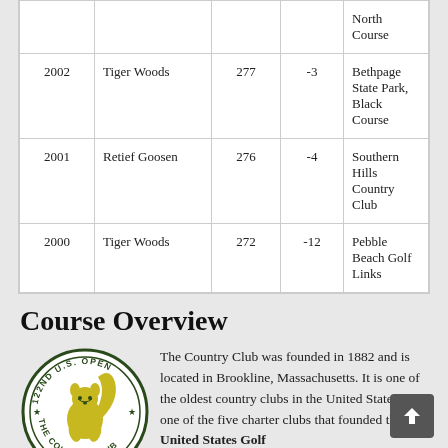| Year | Champion | Score | To Par | Venue |
| --- | --- | --- | --- | --- |
|  |  |  |  | North Course |
| 2002 | Tiger Woods | 277 | -3 | Bethpage State Park, Black Course |
| 2001 | Retief Goosen | 276 | -4 | Southern Hills Country Club |
| 2000 | Tiger Woods | 272 | -12 | Pebble Beach Golf Links |
Course Overview
[Figure (logo): 122nd U.S. Open – The Country Club circular logo with squirrel mascot in green and yellow]
The Country Club was founded in 1882 and is located in Brookline, Massachusetts. It is one of the oldest country clubs in the United States and one of the five charter clubs that founded the United States Golf